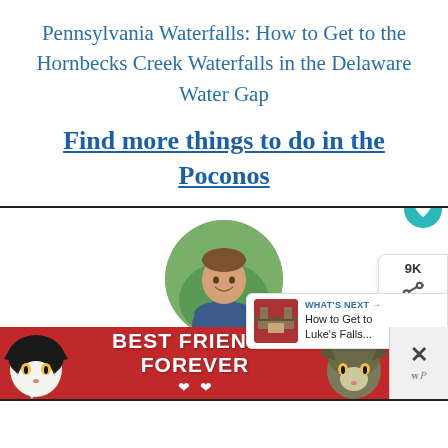Pennsylvania Waterfalls: How to Get to the Hornbecks Creek Waterfalls in the Delaware Water Gap
Find more things to do in the Poconos
[Figure (screenshot): A screenshot of a web widget showing a circular author photo of a man with crossed arms, a teal heart/save button, a share button with 9K count, a 'What's Next' panel thumbnail leading to 'How to Get to Luke's Falls...', and an advertisement banner at the bottom reading 'Best Friends Forever' with cats, with a dismiss X button on the right.]